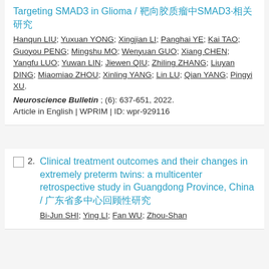Targeting SMAD3 in Glioma / 靶向胶质瘤中SMAD3·相关研究
Hanqun LIU; Yuxuan YONG; Xingjian LI; Panghai YE; Kai TAO; Guoyou PENG; Mingshu MO; Wenyuan GUO; Xiang CHEN; Yangfu LUO; Yuwan LIN; Jiewen QIU; Zhiling ZHANG; Liuyan DING; Miaomiao ZHOU; Xinling YANG; Lin LU; Qian YANG; Pingyi XU.
Neuroscience Bulletin ; (6): 637-651, 2022. Article in English | WPRIM | ID: wpr-929116
Clinical treatment outcomes and their changes in extremely preterm twins: a multicenter retrospective study in Guangdong Province, China / 广东省多中心回顾性研究
Bi-Jun SHI; Ying LI; Fan WU; Zhou-Shan